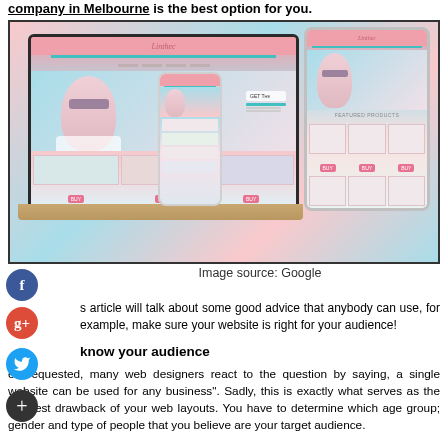company in Melbourne is the best option for you.
[Figure (screenshot): Screenshot of a responsive website shown on laptop, tablet, and mobile phone. The website appears to be a beauty/fashion brand with pink and teal colors.]
Image source: Google
s article will talk about some good advice that anybody can use, for example, make sure your website is right for your audience!
know your audience
en requested, many web designers react to the question by saying, a single website can be used for any business". Sadly, this is exactly what serves as the greatest drawback of your web layouts. You have to determine which age group; gender and type of people that you believe are your target audience.